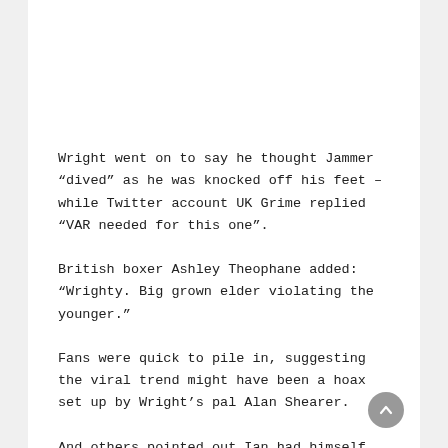Wright went on to say he thought Jammer “dived” as he was knocked off his feet – while Twitter account UK Grime replied “VAR needed for this one”.
British boxer Ashley Theophane added: “Wrighty. Big grown elder violating the younger.”
Fans were quick to pile in, suggesting the viral trend might have been a hoax set up by Wright’s pal Alan Shearer.
And others pointed out Ian had himself recorded a track back in 1993, with Do The Right Thing.